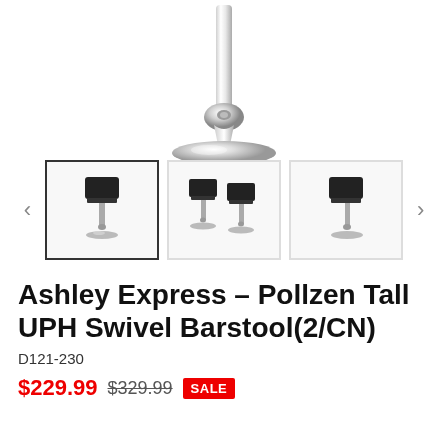[Figure (photo): Close-up of a chrome barstool base/pedestal mechanism against a white background, showing the metal swivel joint and circular chrome base.]
[Figure (photo): Three thumbnail images of the Pollzen Tall UPH Swivel Barstool. First thumbnail (selected/bordered) shows a single stool, second shows two stools side by side, third shows a single stool from a slightly different angle. Navigation arrows on left and right.]
Ashley Express - Pollzen Tall UPH Swivel Barstool(2/CN)
D121-230
$229.99  $329.99  SALE